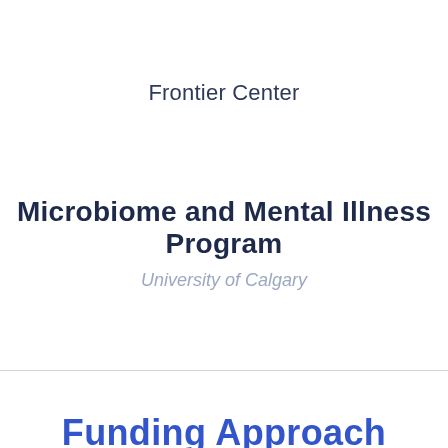Frontier Center
Microbiome and Mental Illness Program
University of Calgary
Funding Approach